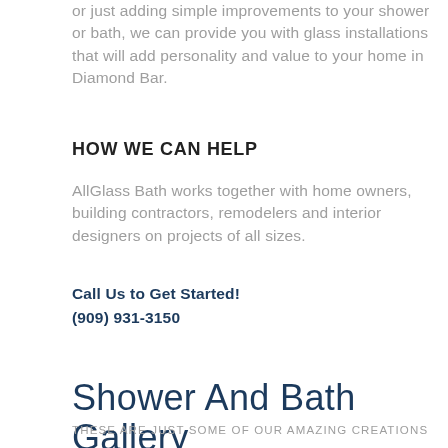or just adding simple improvements to your shower or bath, we can provide you with glass installations that will add personality and value to your home in Diamond Bar.
HOW WE CAN HELP
AllGlass Bath works together with home owners, building contractors, remodelers and interior designers on projects of all sizes.
Call Us to Get Started!
(909) 931-3150
Shower And Bath Gallery
THESE ARE JUST SOME OF OUR AMAZING CREATIONS